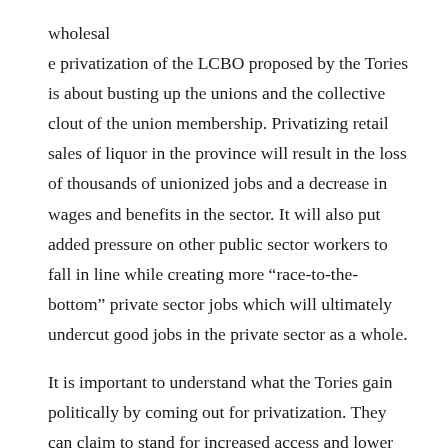wholesal e privatization of the LCBO proposed by the Tories is about busting up the unions and the collective clout of the union membership. Privatizing retail sales of liquor in the province will result in the loss of thousands of unionized jobs and a decrease in wages and benefits in the sector. It will also put added pressure on other public sector workers to fall in line while creating more “race-to-the-bottom” private sector jobs which will ultimately undercut good jobs in the private sector as a whole.
It is important to understand what the Tories gain politically by coming out for privatization. They can claim to stand for increased access and lower liquor prices. Thus, it is imperative that those opposed to